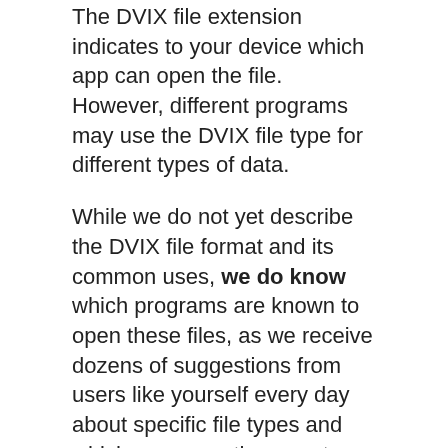The DVIX file extension indicates to your device which app can open the file. However, different programs may use the DVIX file type for different types of data.
While we do not yet describe the DVIX file format and its common uses, we do know which programs are known to open these files, as we receive dozens of suggestions from users like yourself every day about specific file types and which programs they use to open them.
We are continually working on adding more file type descriptions to the site, so if you have information about DVIX files that you think will help others, please use the Update Info link below to submit it to us - we'd love to hear from you!